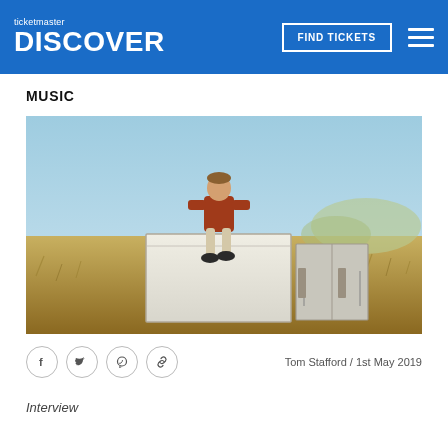ticketmaster DISCOVER | FIND TICKETS
MUSIC
[Figure (photo): Young man in a rust-colored hoodie sitting on top of a white metal container/box in a field of golden grass, with hills and blue sky in the background.]
Tom Stafford / 1st May 2019
Interview